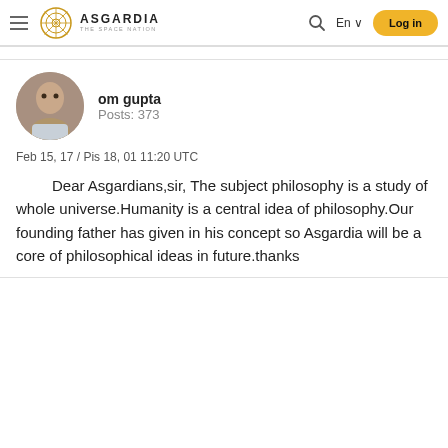Asgardia The Space Nation — Log in
om gupta
Posts: 373
Feb 15, 17 / Pis 18, 01 11:20 UTC
Dear Asgardians,sir, The subject philosophy is a study of whole universe.Humanity is a central idea of philosophy.Our founding father has given in his concept so Asgardia will be a core of philosophical ideas in future.thanks